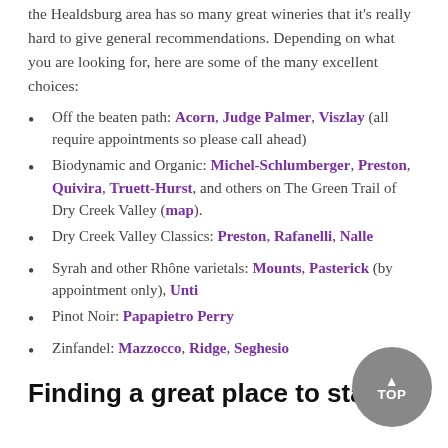the Healdsburg area has so many great wineries that it's really hard to give general recommendations. Depending on what you are looking for, here are some of the many excellent choices:
Off the beaten path: Acorn, Judge Palmer, Viszlay (all require appointments so please call ahead)
Biodynamic and Organic: Michel-Schlumberger, Preston, Quivira, Truett-Hurst, and others on The Green Trail of Dry Creek Valley (map).
Dry Creek Valley Classics: Preston, Rafanelli, Nalle
Syrah and other Rhône varietals: Mounts, Pasterick (by appointment only), Unti
Pinot Noir: Papapietro Perry
Zinfandel: Mazzocco, Ridge, Seghesio
Finding a great place to stay
Healdsburg and the Sonoma County area have many